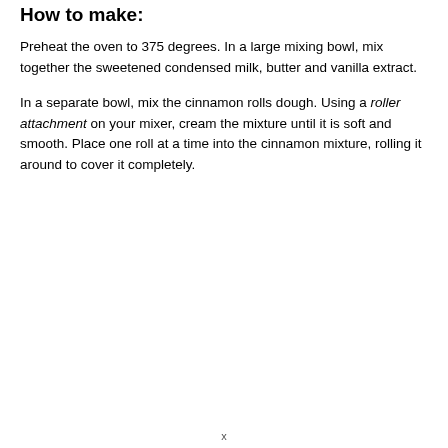How to make:
Preheat the oven to 375 degrees. In a large mixing bowl, mix together the sweetened condensed milk, butter and vanilla extract.
In a separate bowl, mix the cinnamon rolls dough. Using a roller attachment on your mixer, cream the mixture until it is soft and smooth. Place one roll at a time into the cinnamon mixture, rolling it around to cover it completely.
x